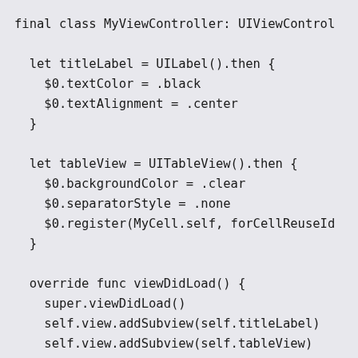final class MyViewController: UIViewController {

  let titleLabel = UILabel().then {
    $0.textColor = .black
    $0.textAlignment = .center
  }

  let tableView = UITableView().then {
    $0.backgroundColor = .clear
    $0.separatorStyle = .none
    $0.register(MyCell.self, forCellReuseId
  }

  override func viewDidLoad() {
    super.viewDidLoad()
    self.view.addSubview(self.titleLabel)
    self.view.addSubview(self.tableView)
  }